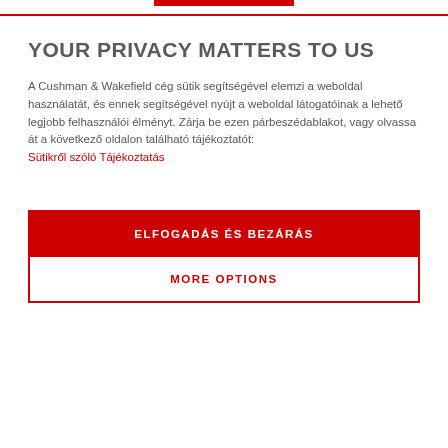YOUR PRIVACY MATTERS TO US
A Cushman & Wakefield cég sütik segítségével elemzi a weboldal használatát, és ennek segítségével nyújt a weboldal látogatóinak a lehető legjobb felhasználói élményt. Zárja be ezen párbeszédablakot, vagy olvassa át a következő oldalon található tájékoztatót: Sütikről szóló Tájékoztatás
ELFOGADÁS ÉS BEZÁRÁS
MORE OPTIONS